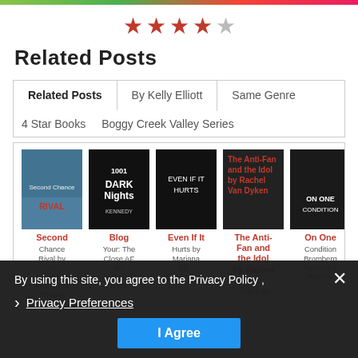[Figure (other): Star rating: 4 out of 5 red stars]
Related Posts
Related Posts | By Kelly Elliott | Same Genre
4 Star Books | Boggy Creek Valley Series
[Figure (other): Book covers: Second Chance Rival by M. Robinson, Blog Your: The Close AF by Kennedy Ryan, Even If It Hurts by Mariana Sil..., The Anti-Fan and the Idol by Rachel Van Dyken, On One Condition by Bromberg]
By using this site, you agree to the Privacy Policy ,
Privacy Preferences
I Agree